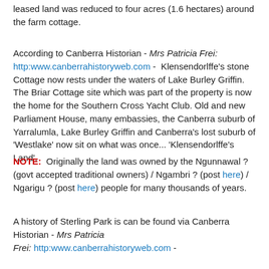leased land was reduced to four acres (1.6 hectares) around the farm cottage.
According to Canberra Historian - Mrs Patricia Frei: http:www.canberrahistoryweb.com -  Klensendorlffe's stone Cottage now rests under the waters of Lake Burley Griffin. The Briar Cottage site which was part of the property is now the home for the Southern Cross Yacht Club. Old and new Parliament House, many embassies, the Canberra suburb of Yarralumla, Lake Burley Griffin and Canberra's lost suburb of 'Westlake' now sit on what was once... 'Klensendorlffe's Land'.
NOTE:  Originally the land was owned by the Ngunnawal ? (govt accepted traditional owners) / Ngambri ? (post here) / Ngarigu ? (post here) people for many thousands of years.
A history of Sterling Park is can be found via Canberra Historian - Mrs Patricia Frei: http:www.canberrahistoryweb.com -